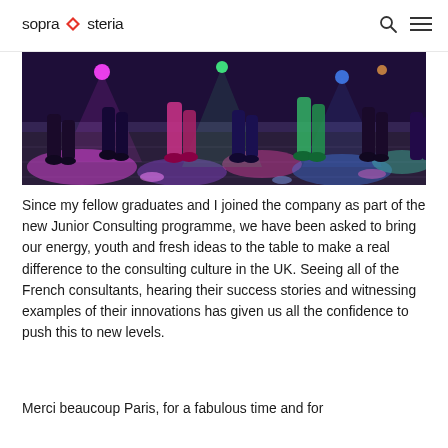sopra steria
[Figure (photo): Photo of people dancing on a dance floor with colorful disco lights (pink, green, blue) illuminating their feet and legs]
Since my fellow graduates and I joined the company as part of the new Junior Consulting programme, we have been asked to bring our energy, youth and fresh ideas to the table to make a real difference to the consulting culture in the UK. Seeing all of the French consultants, hearing their success stories and witnessing examples of their innovations has given us all the confidence to push this to new levels.
Merci beaucoup Paris, for a fabulous time and for making us more excited about the future of S...